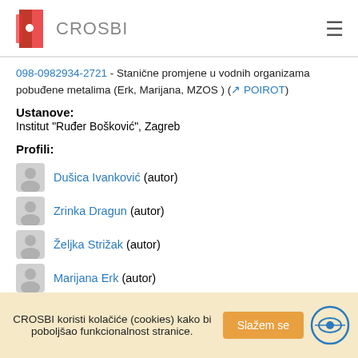CROSBI
098-0982934-2721 - Stanične promjene u vodnih organizama pobuđene metalima (Erk, Marijana, MZOS ) ( POIROT)
Ustanove:
Institut "Ruđer Bošković", Zagreb
Profili:
Dušica Ivanković (autor)
Zrinka Dragun (autor)
Željka Strižak (autor)
Marijana Erk (autor)
CROSBI koristi kolačiće (cookies) kako bi poboljšao funkcionalnost stranice. Slažem se